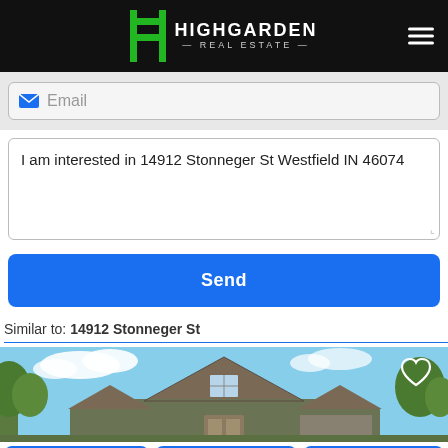HIGHGARDEN REAL ESTATE
Email
I am interested in 14912 Stonneger St Westfield IN 46074
Send
Similar to: 14912 Stonneger St
[Figure (photo): Exterior of a craftsman-style house with brown/gray siding and a prominent gabled roof.]
Call Agent | Message Agent | Schedule Tour